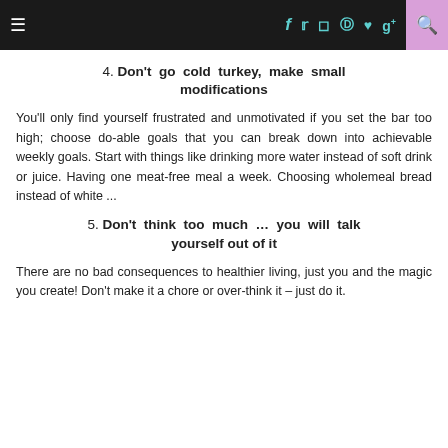≡  f  t  [instagram]  [pinterest]  [heart]  g+  [search]
4. Don't go cold turkey, make small modifications
You'll only find yourself frustrated and unmotivated if you set the bar too high; choose do-able goals that you can break down into achievable weekly goals. Start with things like drinking more water instead of soft drink or juice. Having one meat-free meal a week. Choosing wholemeal bread instead of white ...
5. Don't think too much … you will talk yourself out of it
There are no bad consequences to healthier living, just you and the magic you create! Don't make it a chore or over-think it – just do it.